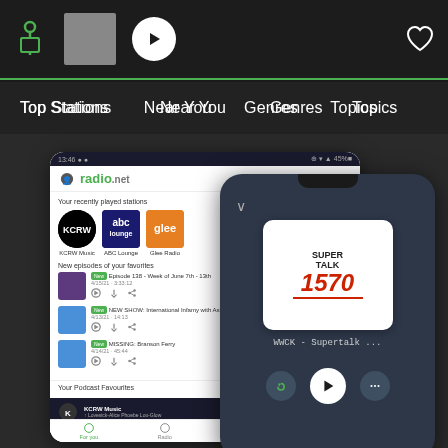[Figure (screenshot): Radio.net app interface showing top navigation bar with logo, play button, and heart icon, followed by navigation menu with Top Stations, Near You, Genres, Topics links, and two mobile phone screenshots showing the radio.net app with recently played stations (KCRW Music, ABC Lounge, Glee Radio), podcast episodes, and a now-playing screen for WWCK Supertalk 1570]
Top Stations
Near You
Genres
Topics